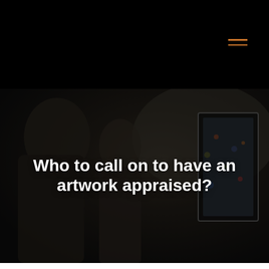[Figure (photo): Two people standing in a darkened art gallery looking at framed artwork on the wall, with a semi-transparent dark overlay. Bold white text overlay reads: Who to call on to have an artwork appraised?]
Who to call on to have an artwork appraised?
Do you want to know the price of a work of art? Whether